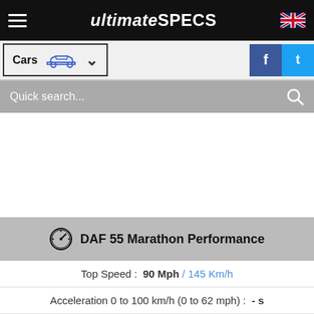ultimateSPECS
Cars
Quick search...
DAF 55 Marathon Performance
Top Speed : 90 Mph / 145 Km/h
Acceleration 0 to 100 km/h (0 to 62 mph) : - s